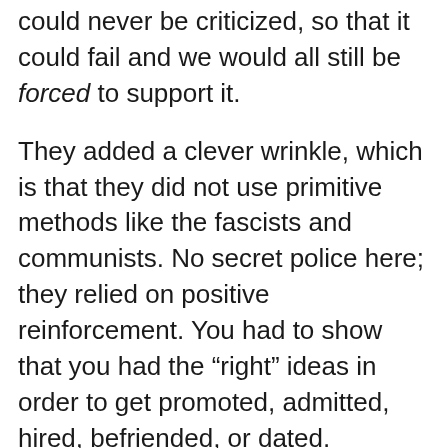could never be criticized, so that it could fail and we would all still be forced to support it.
They added a clever wrinkle, which is that they did not use primitive methods like the fascists and communists. No secret police here; they relied on positive reinforcement. You had to show that you had the “right” ideas in order to get promoted, admitted, hired, befriended, or dated.
Conversations with people who supported the system (henceforth: “collaborators”) always involved talking about big important